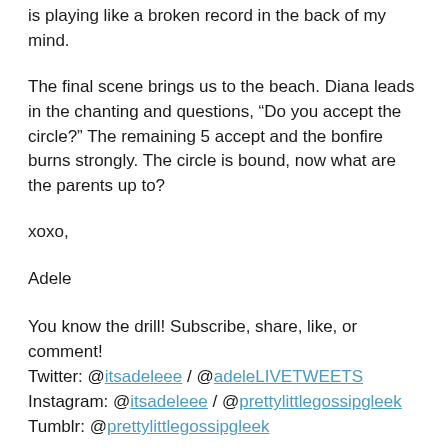is playing like a broken record in the back of my mind.
The final scene brings us to the beach. Diana leads in the chanting and questions, “Do you accept the circle?” The remaining 5 accept and the bonfire burns strongly. The circle is bound, now what are the parents up to?
xoxo,
Adele
You know the drill! Subscribe, share, like, or comment!
Twitter: @itsadeleee / @adeleLIVETWEETS
Instagram: @itsadeleee / @prettylittlegossipgleek
Tumblr: @prettylittlegossipgleek